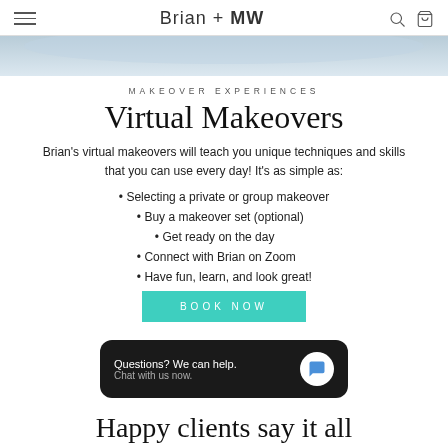Brian + MW
[Figure (photo): Partial view of a light blue/grey background hero image, cropped at top]
MAKEOVER EXPERIENCES
Virtual Makeovers
Brian's virtual makeovers will teach you unique techniques and skills that you can use every day! It's as simple as:
Selecting a private or group makeover
Buy a makeover set (optional)
Get ready on the day
Connect with Brian on Zoom
Have fun, learn, and look great!
BOOK NOW
Questions? We can help. Chat with us now.
Happy clients say it all